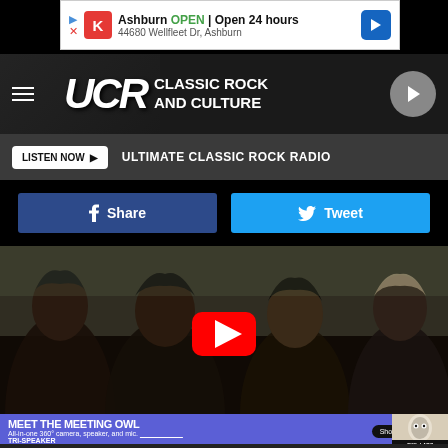[Figure (screenshot): Google Maps ad banner showing Ashburn location, OPEN, Open 24 hours, 44680 Wellfleet Dr, Ashburn]
[Figure (logo): UCR Classic Rock and Culture logo with hamburger menu and play button]
LISTEN NOW ▶  ULTIMATE CLASSIC ROCK RADIO
[Figure (screenshot): Facebook Share button (dark blue) and Twitter Tweet button (light blue)]
[Figure (photo): YouTube video thumbnail showing four people with long hair standing outside, with a red YouTube play button in the center]
[Figure (screenshot): Bottom advertisement: MEET THE MEETING OWL - All-in-one 360 camera, speaker, and mic. TRI-SPEAKER. Shop Now button. OWL LABS logo with owl device image.]